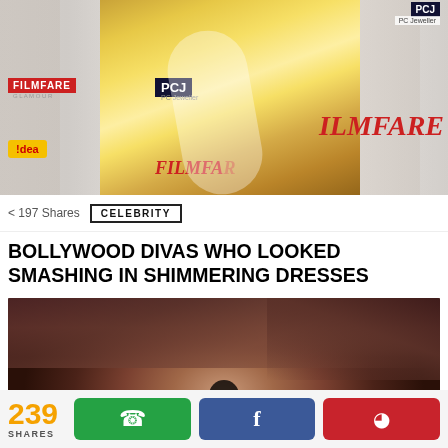[Figure (photo): A woman in a gold shimmering dress posing at a Filmfare and PCJ event. Logos for Filmfare, Idea, and PC Jeweller visible in background.]
197 Shares
CELEBRITY
BOLLYWOOD DIVAS WHO LOOKED SMASHING IN SHIMMERING DRESSES
[Figure (photo): Close-up portrait of a Bollywood actress with dark reddish-brown hair, looking into the camera. A GIF badge is visible at the bottom center.]
239 SHARES